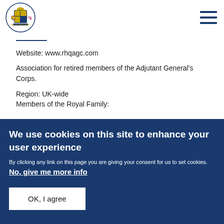[Figure (logo): Royal coat of arms / UK government crest logo in blue and gold]
Website: www.rhqagc.com
Association for retired members of the Adjutant General's Corps.
Region: UK-wide
Members of the Royal Family:
We use cookies on this site to enhance your user experience
By clicking any link on this page you are giving your consent for us to set cookies. No, give me more info
OK, I agree